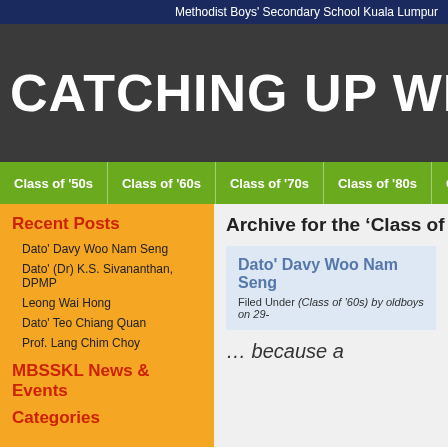Methodist Boys' Secondary School Kuala Lumpur
CATCHING UP WITH OUR
Class of '50s | Class of '60s | Class of '70s | Class of '80s | Class of '90s
Recent Posts
Dato' Davy Woo Nam Seng
Dato' (Dr) K.S. Sivananthan, DPMP
Leong Wai Hong
Dato' Teo Chiang Quan
Prof. Lang Chim Choy
MBSSKL News & Events
Categories
Archive for the ‘Class of ’60s’ C
Dato' Davy Woo Nam Seng
Filed Under (Class of ’60s) by oldboys on 29-
… because a